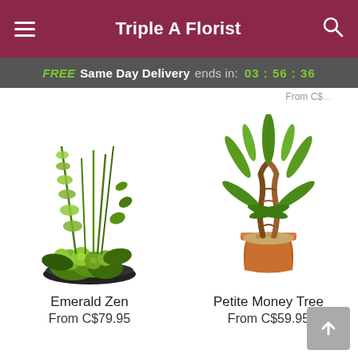Triple A Florist
FREE Same Day Delivery ends in: 03 : 56 : 36
From C$...
[Figure (photo): Emerald Zen floral arrangement with green flowers and tall grasses in a black dish]
Emerald Zen
From C$79.95
[Figure (photo): Petite Money Tree plant in a terracotta pot with braided trunk and green palm-like leaves]
Petite Money Tree
From C$59.95